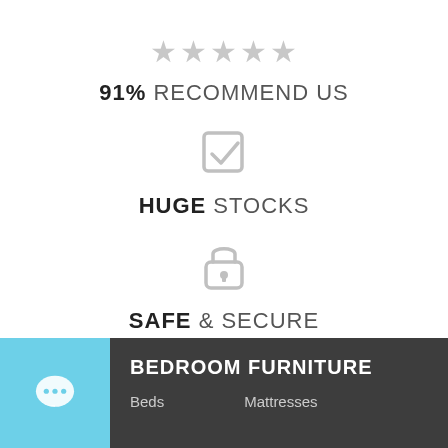[Figure (infographic): Five grey stars in a row representing a rating]
91% RECOMMEND US
[Figure (infographic): Grey checkmark / tick icon in a box]
HUGE STOCKS
[Figure (infographic): Grey padlock icon]
SAFE & SECURE
BEDROOM FURNITURE
Beds    Mattresses